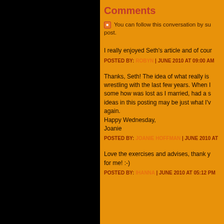Comments
You can follow this conversation by subscribing to the comment feed for this post.
I really enjoyed Seth's article and of cour...
POSTED BY: ROBYN | JUNE 2010 AT 09:00 AM
Thanks, Seth! The idea of what really is wrestling with the last few years. When I some how was lost as I married, had a s ideas in this posting may be just what I'v again.
Happy Wednesday,
Joanie
POSTED BY: JOANIE HOFFMAN | JUNE 2010 AT
Love the exercises and advises, thank y for me! :-)
POSTED BY: IHANNA | JUNE 2010 AT 05:12 PM